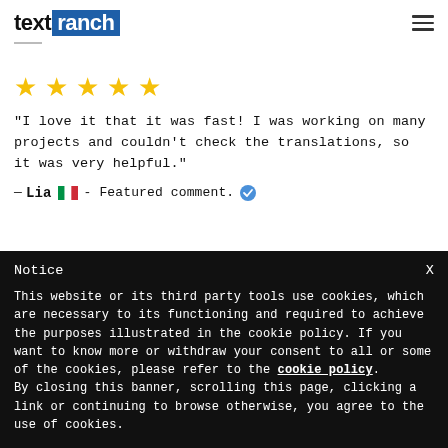textranch
[Figure (other): Five gold star rating icons]
"I love it that it was fast! I was working on many projects and couldn't check the translations, so it was very helpful."
— Lia 🇮🇹 - Featured comment. ✅
Notice
This website or its third party tools use cookies, which are necessary to its functioning and required to achieve the purposes illustrated in the cookie policy. If you want to know more or withdraw your consent to all or some of the cookies, please refer to the cookie policy.
By closing this banner, scrolling this page, clicking a link or continuing to browse otherwise, you agree to the use of cookies.